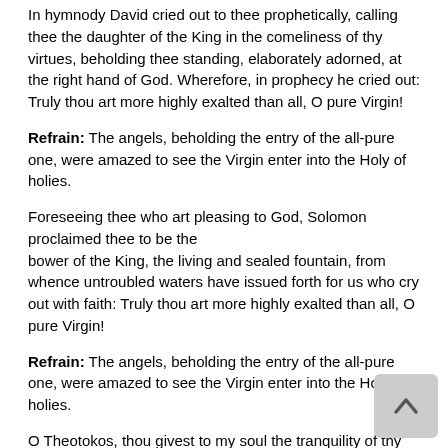In hymnody David cried out to thee prophetically, calling thee the daughter of the King in the comeliness of thy virtues, beholding thee standing, elaborately adorned, at the right hand of God. Wherefore, in prophecy he cried out: Truly thou art more highly exalted than all, O pure Virgin!
Refrain: The angels, beholding the entry of the all-pure one, were amazed to see the Virgin enter into the Holy of holies.
Foreseeing thee who art pleasing to God, Solomon proclaimed thee to be the bower of the King, the living and sealed fountain, from whence untroubled waters have issued forth for us who cry out with faith: Truly thou art more highly exalted than all, O pure Virgin!
Refrain: The angels, beholding the entry of the all-pure one, were amazed to see the Virgin enter into the Holy of holies.
O Theotokos, thou givest to my soul the tranquility of thy gifts, pouring forth life upon those who honor thee as is meet, defending, protecting and preserving them thyself, that they might cry to thee: Truly thou art more highly exalted than all, O pure Virgin!